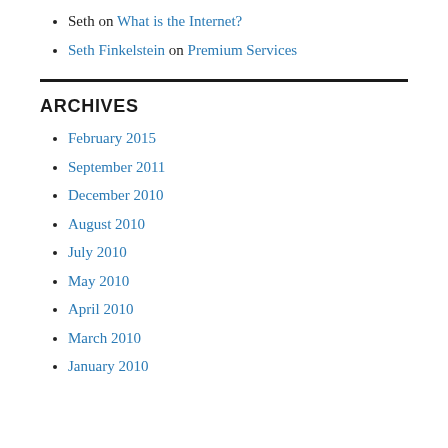Seth on What is the Internet?
Seth Finkelstein on Premium Services
ARCHIVES
February 2015
September 2011
December 2010
August 2010
July 2010
May 2010
April 2010
March 2010
January 2010